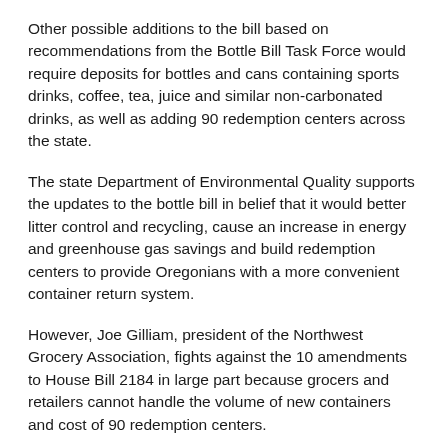Other possible additions to the bill based on recommendations from the Bottle Bill Task Force would require deposits for bottles and cans containing sports drinks, coffee, tea, juice and similar non-carbonated drinks, as well as adding 90 redemption centers across the state.
The state Department of Environmental Quality supports the updates to the bottle bill in belief that it would better litter control and recycling, cause an increase in energy and greenhouse gas savings and build redemption centers to provide Oregonians with a more convenient container return system.
However, Joe Gilliam, president of the Northwest Grocery Association, fights against the 10 amendments to House Bill 2184 in large part because grocers and retailers cannot handle the volume of new containers and cost of 90 redemption centers.